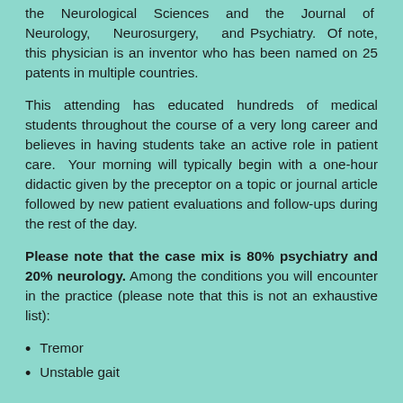the Neurological Sciences and the Journal of Neurology, Neurosurgery, and Psychiatry. Of note, this physician is an inventor who has been named on 25 patents in multiple countries.
This attending has educated hundreds of medical students throughout the course of a very long career and believes in having students take an active role in patient care. Your morning will typically begin with a one-hour didactic given by the preceptor on a topic or journal article followed by new patient evaluations and follow-ups during the rest of the day.
Please note that the case mix is 80% psychiatry and 20% neurology. Among the conditions you will encounter in the practice (please note that this is not an exhaustive list):
Tremor
Unstable gait